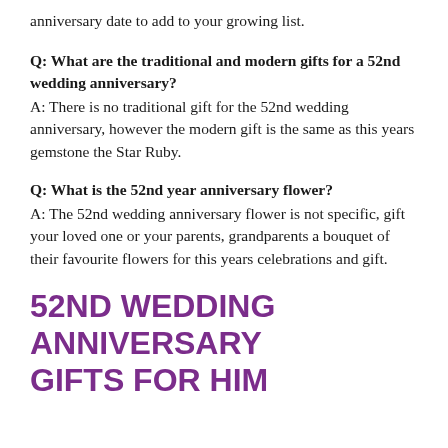anniversary date to add to your growing list.
Q: What are the traditional and modern gifts for a 52nd wedding anniversary?
A: There is no traditional gift for the 52nd wedding anniversary, however the modern gift is the same as this years gemstone the Star Ruby.
Q: What is the 52nd year anniversary flower?
A: The 52nd wedding anniversary flower is not specific, gift your loved one or your parents, grandparents a bouquet of their favourite flowers for this years celebrations and gift.
52ND WEDDING ANNIVERSARY GIFTS FOR HIM